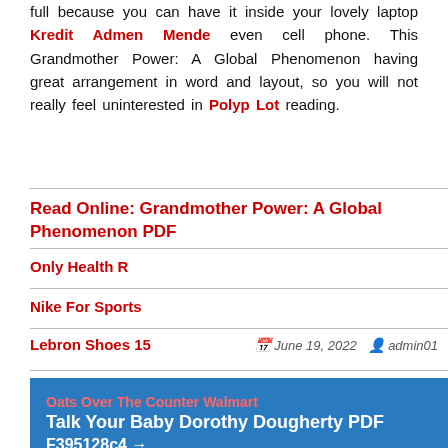full because you can have it inside your lovely laptop even cell phone. This Grandmother Power: A Global Phenomenon having great arrangement in word and layout, so you will not really feel uninterested in reading.
Read Online: Grandmother Power: A Global Phenomenon PDF
Only Health R
Nike For Sports
Lebron Shoes 15
June 19, 2022   admin01
Talk Your Baby Dorothy Dougherty PDF F395128c4 →